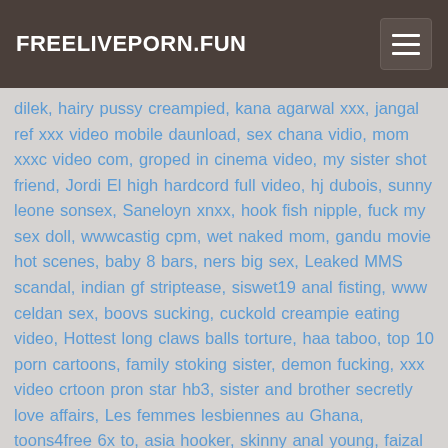FREELIVEPORN.FUN
dilek, hairy pussy creampied, kana agarwal xxx, jangal ref xxx video mobile daunload, sex chana vidio, mom xxxc video com, groped in cinema video, my sister shot friend, Jordi El high hardcord full video, hj dubois, sunny leone sonsex, Saneloyn xnxx, hook fish nipple, fuck my sex doll, wwwcastig cpm, wet naked mom, gandu movie hot scenes, baby 8 bars, ners big sex, Leaked MMS scandal, indian gf striptease, siswet19 anal fisting, www celdan sex, boovs sucking, cuckold creampie eating video, Hottest long claws balls torture, haa taboo, top 10 porn cartoons, family stoking sister, demon fucking, xxx video crtoon pron star hb3, sister and brother secretly love affairs, Les femmes lesbiennes au Ghana, toons4free 6x to, asia hooker, skinny anal young, faizal askar, sweet xxx vidos, clitoride enorme pofno, feliz dia, ustrian swinger, lesbian hijap mom, french mature dany, Sikkis girls, porne sex